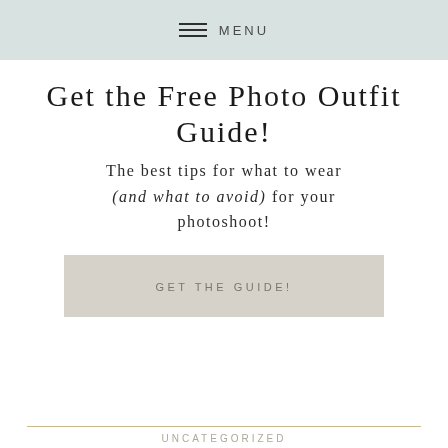MENU
Get the Free Photo Outfit Guide!
The best tips for what to wear (and what to avoid) for your photoshoot!
GET THE GUIDE!
UNCATEGORIZED